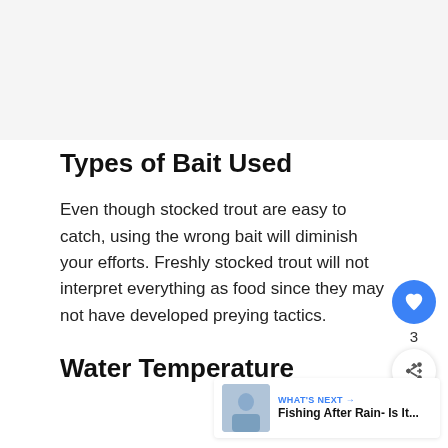Types of Bait Used
Even though stocked trout are easy to catch, using the wrong bait will diminish your efforts. Freshly stocked trout will not interpret everything as food since they may not have developed preying tactics.
Water Temperature